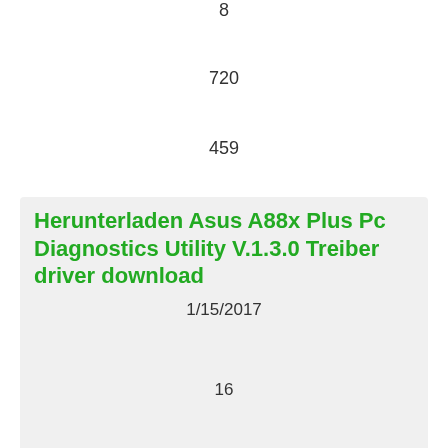8
720
459
Herunterladen Asus A88x Plus Pc Diagnostics Utility V.1.3.0 Treiber driver download
1/15/2017
16
Available